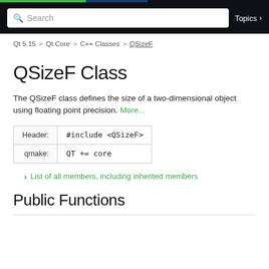Qt Documentation — QSizeF Class
Qt 5.15 > Qt Core > C++ Classes > QSizeF
QSizeF Class
The QSizeF class defines the size of a two-dimensional object using floating point precision. More...
|  |  |
| --- | --- |
| Header: | #include <QSizeF> |
| qmake: | QT += core |
List of all members, including inherited members
Public Functions